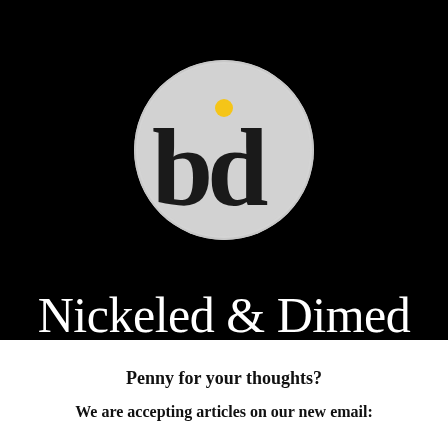[Figure (logo): Circular logo with grey background showing stylized blackletter 'nd' letters with a yellow dot above, on black background]
Nickeled & Dimed
Penny for your thoughts?
We are accepting articles on our new email: